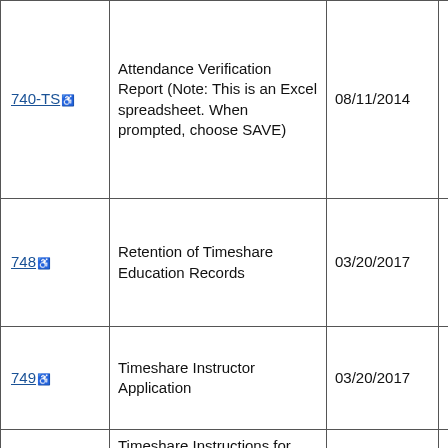| Form | Title | Date | Pages |
| --- | --- | --- | --- |
| 740-TS ♿ | Attendance Verification Report (Note: This is an Excel spreadsheet. When prompted, choose SAVE) | 08/11/2014 | 1 |
| 748 ♿ | Retention of Timeshare Education Records | 03/20/2017 | 1 |
| 749 ♿ | Timeshare Instructor Application | 03/20/2017 | 1 |
| 785-TS ♿ | Timeshare Instructions for Preparing and Submitting Rosters for Electronic | 02/04/2016 | 1 |